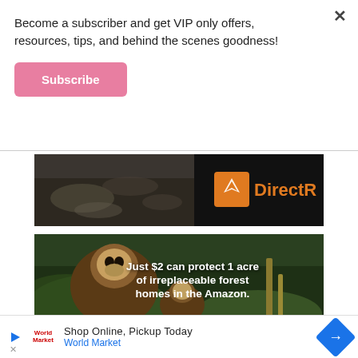Become a subscriber and get VIP only offers, resources, tips, and behind the scenes goodness!
Subscribe
[Figure (photo): Cropped advertisement banner showing a person in a black shirt with an orange DirectRelief-style logo partially visible (DirectR)]
[Figure (photo): Advertisement image showing two monkeys (howler monkeys) in the Amazon with text overlay: Just $2 can protect 1 acre of irreplaceable forest homes in the Amazon.]
Just $2 can protect 1 acre of irreplaceable forest homes in the Amazon.
Shop Online, Pickup Today
World Market